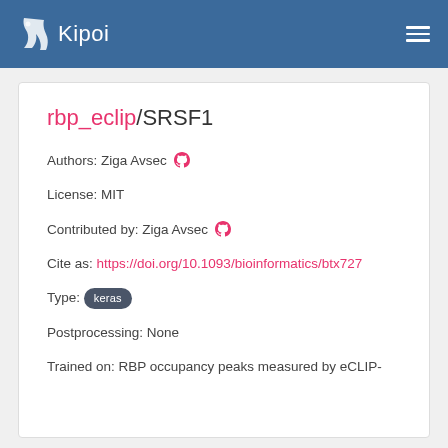Kipoi
rbp_eclip/SRSF1
Authors: Ziga Avsec
License: MIT
Contributed by: Ziga Avsec
Cite as: https://doi.org/10.1093/bioinformatics/btx727
Type: keras
Postprocessing: None
Trained on: RBP occupancy peaks measured by eCLIP-